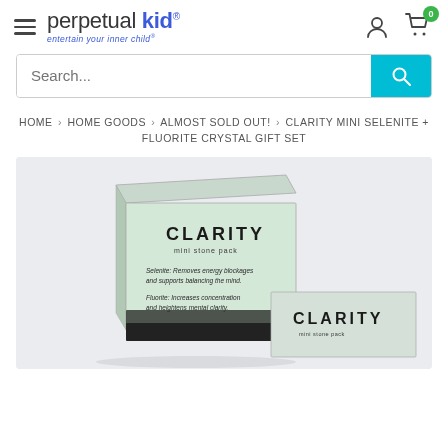perpetual kid — entertain your inner child®
Search...
HOME › HOME GOODS › ALMOST SOLD OUT! › CLARITY MINI SELENITE + FLUORITE CRYSTAL GIFT SET
[Figure (photo): Product photo of Clarity Mini Stone Pack boxes — open box showing CLARITY branding and descriptions for Selenite and Fluorite crystals, with another closed CLARITY box in the foreground right.]